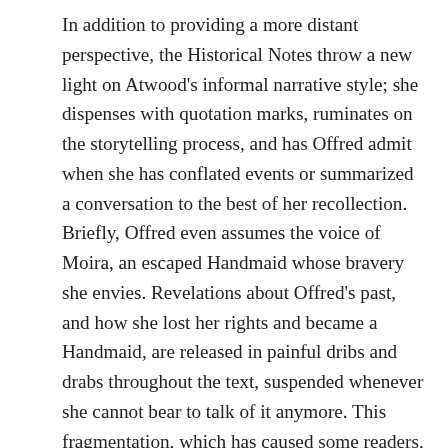In addition to providing a more distant perspective, the Historical Notes throw a new light on Atwood's informal narrative style; she dispenses with quotation marks, ruminates on the storytelling process, and has Offred admit when she has conflated events or summarized a conversation to the best of her recollection. Briefly, Offred even assumes the voice of Moira, an escaped Handmaid whose bravery she envies. Revelations about Offred's past, and how she lost her rights and became a Handmaid, are released in painful dribs and drabs throughout the text, suspended whenever she cannot bear to talk of it anymore. This fragmentation, which has caused some readers, understandably, to complain that it impeded their ability to sink into the narrative, suddenly makes more stylistic sense in light of this belatedly revealed conceit. The Historical Notes also reveal that the academics have had to edit Offred's tale into their best guess at its original